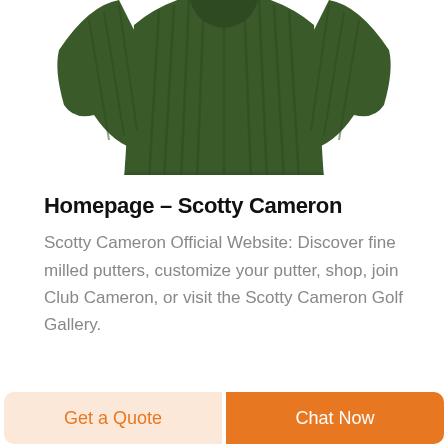[Figure (photo): Green ribbed knit long-sleeve sweater/pullover shown flat against white background]
Homepage – Scotty Cameron
Scotty Cameron Official Website: Discover fine milled putters, customize your putter, shop, join Club Cameron, or visit the Scotty Cameron Golf Gallery.
Read more
Get a Quote
Chat Now